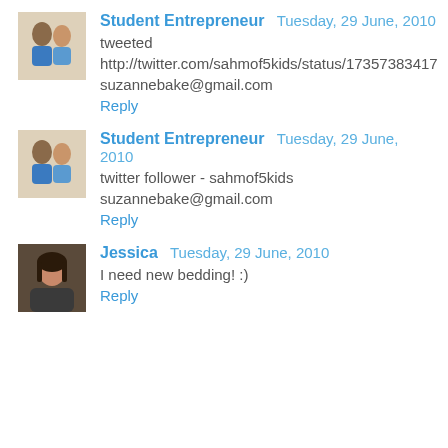Student Entrepreneur  Tuesday, 29 June, 2010
tweeted
http://twitter.com/sahmof5kids/status/17357383417
suzannebake@gmail.com
Reply
Student Entrepreneur  Tuesday, 29 June, 2010
twitter follower - sahmof5kids
suzannebake@gmail.com
Reply
Jessica  Tuesday, 29 June, 2010
I need new bedding! :)
Reply